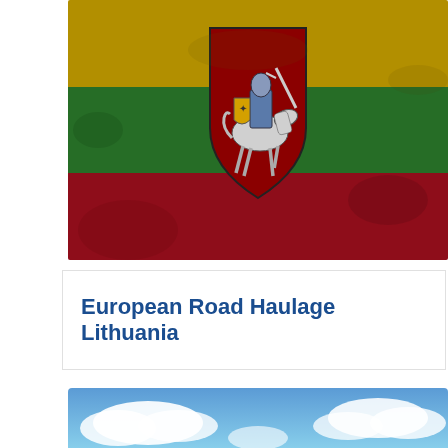[Figure (illustration): Lithuanian national flag with distressed/textured effect showing three horizontal stripes: yellow (top), green (middle), red (bottom), with the Lithuanian coat of arms (Vytis - armored knight on horseback) centered on the flag.]
European Road Haulage Lithuania
[Figure (photo): Partial photo of blue sky with white clouds, visible only at the bottom of the page.]